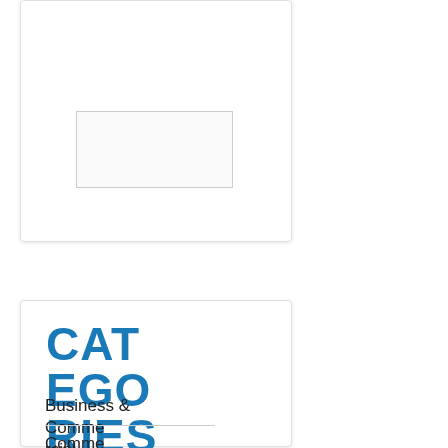[Figure (other): A card widget with an inner bordered box, partially visible at top of page]
CATEGORIES
Business & Commercial
Commercial